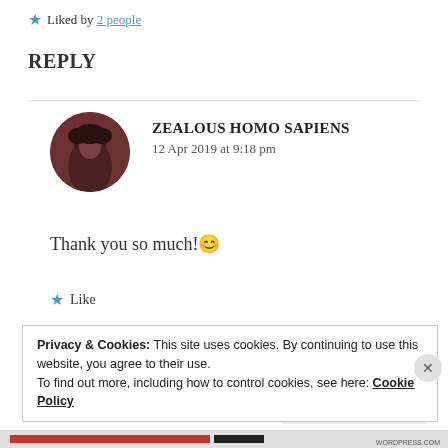★ Liked by 2 people
REPLY
[Figure (photo): Circular avatar photo of a person with dark hair, reddish-brown tinted image]
ZEALOUS HOMO SAPIENS
12 Apr 2019 at 9:18 pm
Thank you so much!😊
★ Like
Privacy & Cookies: This site uses cookies. By continuing to use this website, you agree to their use.
To find out more, including how to control cookies, see here: Cookie Policy
Close and accept